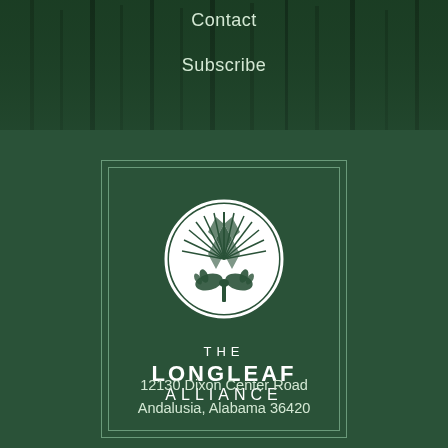Contact
Subscribe
[Figure (logo): The Longleaf Alliance logo: white circle containing stylized longleaf pine needles and hands, with text THE LONGLEAF ALLIANCE below, on dark green background with decorative border]
12130 Dixon Center Road
Andalusia, Alabama 36420